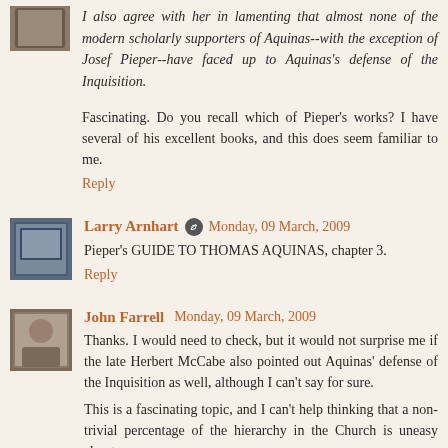I also agree with her in lamenting that almost none of the modern scholarly supporters of Aquinas--with the exception of Josef Pieper--have faced up to Aquinas's defense of the Inquisition.
Fascinating. Do you recall which of Pieper's works? I have several of his excellent books, and this does seem familiar to me.
Reply
Larry Arnhart  Monday, 09 March, 2009
Pieper's GUIDE TO THOMAS AQUINAS, chapter 3.
Reply
John Farrell  Monday, 09 March, 2009
Thanks. I would need to check, but it would not surprise me if the late Herbert McCabe also pointed out Aquinas' defense of the Inquisition as well, although I can't say for sure.
This is a fascinating topic, and I can't help thinking that a non-trivial percentage of the hierarchy in the Church is uneasy about